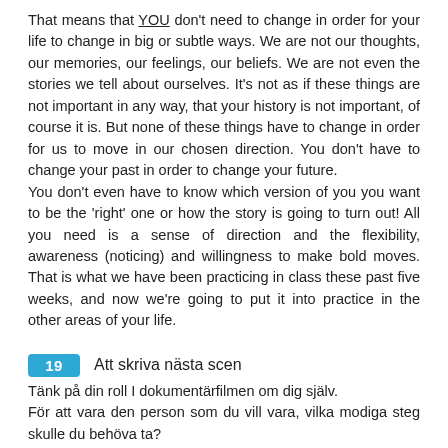That means that YOU don't need to change in order for your life to change in big or subtle ways. We are not our thoughts, our memories, our feelings, our beliefs. We are not even the stories we tell about ourselves. It's not as if these things are not important in any way, that your history is not important, of course it is. But none of these things have to change in order for us to move in our chosen direction. You don't have to change your past in order to change your future.
You don't even have to know which version of you you want to be the 'right' one or how the story is going to turn out! All you need is a sense of direction and the flexibility, awareness (noticing) and willingness to make bold moves. That is what we have been practicing in class these past five weeks, and now we're going to put it into practice in the other areas of your life.
19   Att skriva nästa scen
Tänk på din roll I dokumentärfilmen om dig själv.
För att vara den person som du vill vara, vilka modiga steg skulle du behöva ta?
Hur skulle du kunna ta ett steg I den riktningen den här veckan?